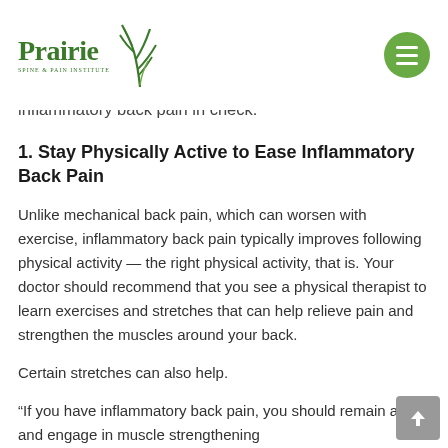[Figure (logo): Prairie Spine & Pain Institute logo with green grass/wheat icon]
inflammatory back pain in check.
1. Stay Physically Active to Ease Inflammatory Back Pain
Unlike mechanical back pain, which can worsen with exercise, inflammatory back pain typically improves following physical activity — the right physical activity, that is. Your doctor should recommend that you see a physical therapist to learn exercises and stretches that can help relieve pain and strengthen the muscles around your back.
Certain stretches can also help.
“If you have inflammatory back pain, you should remain active and engage in muscle strengthening